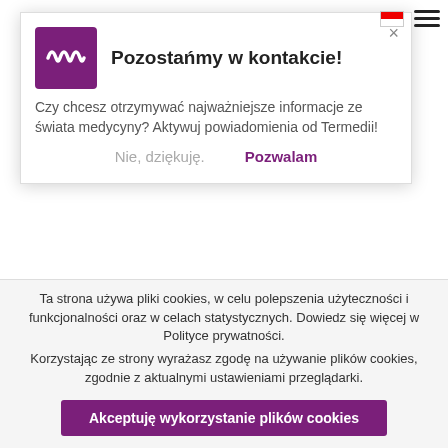[Figure (screenshot): Newsletter subscription popup overlay with Termedii logo (purple with waveform icon), title 'Pozostańmy w kontakcie!', description text in Polish about receiving medical news, and two buttons: 'Nie, dziękuję.' and 'Pozwalam']
perspiration. Moreover, due to the developed retrometabolic drug design, the adverse effects were limited to those of a mild and moderate severity. Hence, topical sofpironium bromide modalities might be an efficacious hyperhidrosis treatment option in the foreseeable future [28, 31].
Oxybutynin in the transdermal formula proved to be a successful therapy of the overactive bladder in adults due to its anticholinergic
Ta strona używa pliki cookies, w celu polepszenia użyteczności i funkcjonalności oraz w celach statystycznych. Dowiedz się więcej w Polityce prywatności.
Korzystając ze strony wyrażasz zgodę na używanie plików cookies, zgodnie z aktualnymi ustawieniami przeglądarki.
Akceptuję wykorzystanie plików cookies